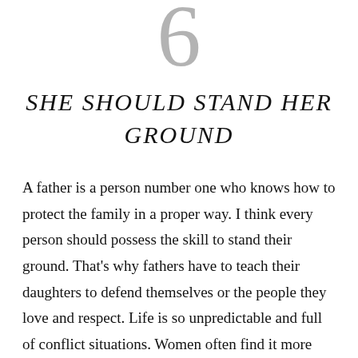6
SHE SHOULD STAND HER GROUND
A father is a person number one who knows how to protect the family in a proper way. I think every person should possess the skill to stand their ground. That's why fathers have to teach their daughters to defend themselves or the people they love and respect. Life is so unpredictable and full of conflict situations. Women often find it more ladylike to hold